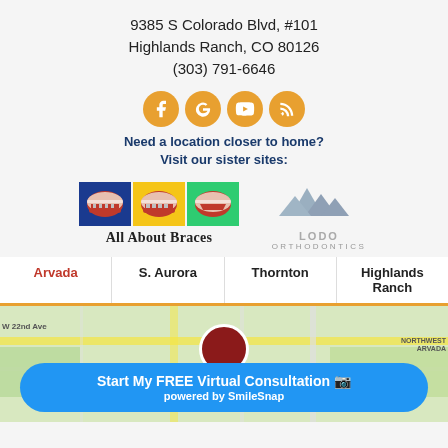9385 S Colorado Blvd, #101
Highlands Ranch, CO 80126
(303) 791-6646
[Figure (other): Four social media icon circles (Facebook, Google, YouTube, RSS feed) in orange]
Need a location closer to home?
Visit our sister sites:
[Figure (logo): All About Braces logo with three colored squares (blue, yellow, green) each containing a lips/braces icon, with text 'All About Braces' below]
[Figure (logo): LoDo Orthodontics logo with mountain/crown graphic and text 'LODO ORTHODONTICS']
[Figure (map): Google Maps screenshot showing Arvada area with location tabs: Arvada (active/red), S. Aurora, Thornton, Highlands Ranch]
Start My FREE Virtual Consultation 📷
powered by SmileSnap